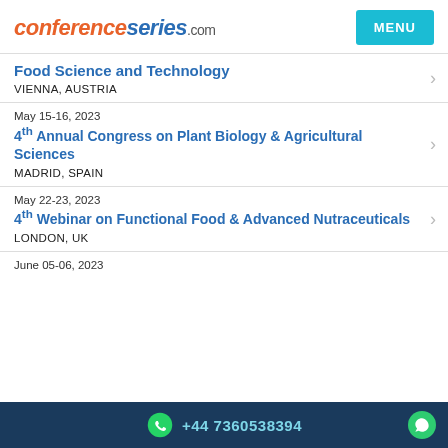conferenceseries.com
Food Science and Technology · VIENNA, AUSTRIA
May 15-16, 2023 · 4th Annual Congress on Plant Biology & Agricultural Sciences · MADRID, SPAIN
May 22-23, 2023 · 4th Webinar on Functional Food & Advanced Nutraceuticals · LONDON, UK
June 05-06, 2023
+44 7360538394